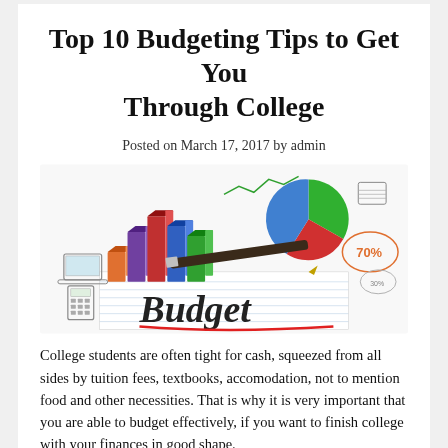Top 10 Budgeting Tips to Get You Through College
Posted on March 17, 2017 by admin
[Figure (photo): A budgeting-themed photo illustration featuring colorful 3D bar charts, a pie chart, a line graph, a pen, a notebook showing the word 'Budget' in script with a red underline, and surrounding hand-drawn financial icons including a calculator, laptop, and percentage circles.]
College students are often tight for cash, squeezed from all sides by tuition fees, textbooks, accomodation, not to mention food and other necessities. That is why it is very important that you are able to budget effectively, if you want to finish college with your finances in good shape.